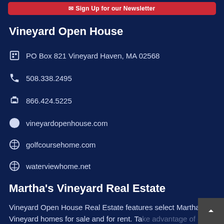Sign Up for our Newsletter
Vineyard Open House
PO Box 821 Vineyard Haven, MA 02568
508.338.2495
866.424.5225
vineyardopenhouse.com
golfcoursehome.com
waterviewhome.net
Martha's Vineyard Real Estate
Vineyard Open House Real Estate features select Martha's Vineyard homes for sale and for rent. Take advantage of our 25+ years of marketing resort real estate when you buy or sell. Our experienced agent...